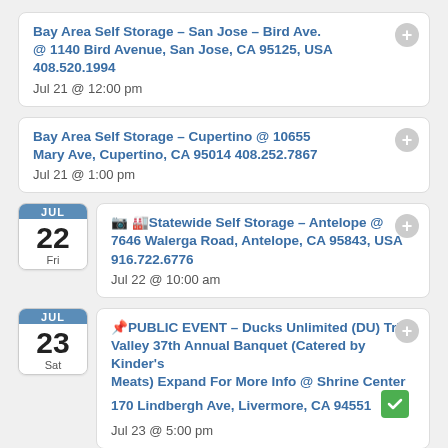Bay Area Self Storage – San Jose – Bird Ave. @ 1140 Bird Avenue, San Jose, CA 95125, USA 408.520.1994 Jul 21 @ 12:00 pm
Bay Area Self Storage – Cupertino @ 10655 Mary Ave, Cupertino, CA 95014 408.252.7867 Jul 21 @ 1:00 pm
JUL 22 Fri – Statewide Self Storage – Antelope @ 7646 Walerga Road, Antelope, CA 95843, USA 916.722.6776 Jul 22 @ 10:00 am
JUL 23 Sat – PUBLIC EVENT – Ducks Unlimited (DU) Tri-Valley 37th Annual Banquet (Catered by Kinder's Meats) Expand For More Info @ Shrine Center 170 Lindbergh Ave, Livermore, CA 94551 Jul 23 @ 5:00 pm